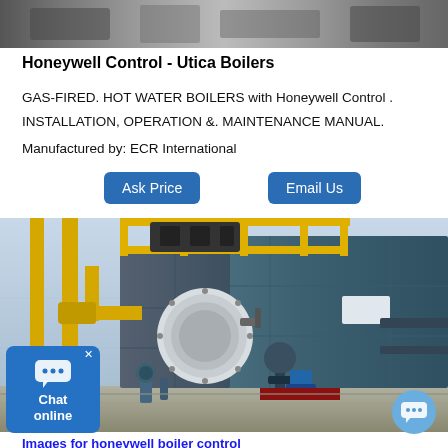[Figure (photo): Top banner photograph showing industrial boiler equipment in grayscale]
Honeywell Control - Utica Boilers
GAS-FIRED. HOT WATER BOILERS with Honeywell Control .
INSTALLATION, OPERATION &. MAINTENANCE MANUAL.
Manufactured by: ECR International
[Figure (other): Ask Price button]
[Figure (other): Email Us button]
[Figure (photo): Large industrial gas-fired hot water boiler with yellow pipes and machinery in a factory setting]
Images for honeywell boiler control